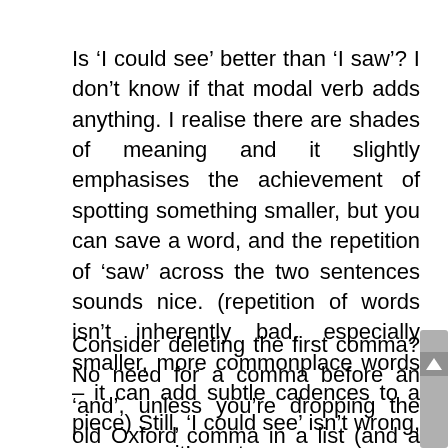Is 'I could see' better than 'I saw'? I don't know if that modal verb adds anything. I realise there are shades of meaning and it slightly emphasises the achievement of spotting something smaller, but you can save a word, and the repetition of 'saw' across the two sentences sounds nice. (repetition of words isn't inherently bad, especially smaller, more commonplace words – it can add subtle cadences to a piece) Still, 'I could see' isn't wrong, per se, so it's up to you.
Consider deleting the first comma? No need for a comma before an 'and', unless you're dropping the old Oxford comma in a list (and a lot of publishers' style guides will just